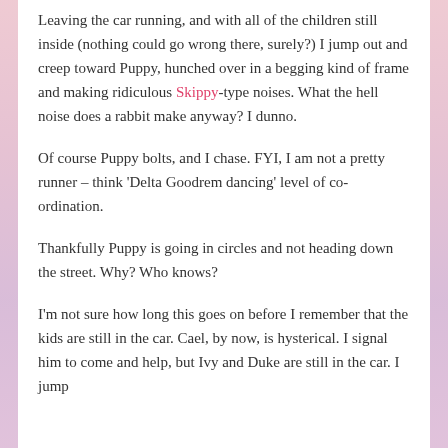Leaving the car running, and with all of the children still inside (nothing could go wrong there, surely?) I jump out and creep toward Puppy, hunched over in a begging kind of frame and making ridiculous Skippy-type noises. What the hell noise does a rabbit make anyway? I dunno.
Of course Puppy bolts, and I chase. FYI, I am not a pretty runner – think 'Delta Goodrem dancing' level of co-ordination.
Thankfully Puppy is going in circles and not heading down the street. Why? Who knows?
I'm not sure how long this goes on before I remember that the kids are still in the car. Cael, by now, is hysterical. I signal him to come and help, but Ivy and Duke are still in the car. I jump